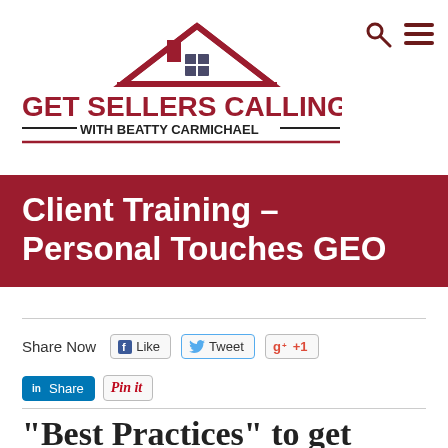[Figure (logo): Get Sellers Calling You with Beatty Carmichael logo — house graphic with red roof and dark text below]
Client Training – Personal Touches GEO
Share Now
[Figure (screenshot): Social share buttons: Like (Facebook), Tweet (Twitter), +1 (Google Plus), Share (LinkedIn), Pin it (Pinterest)]
“Best Practices” to get